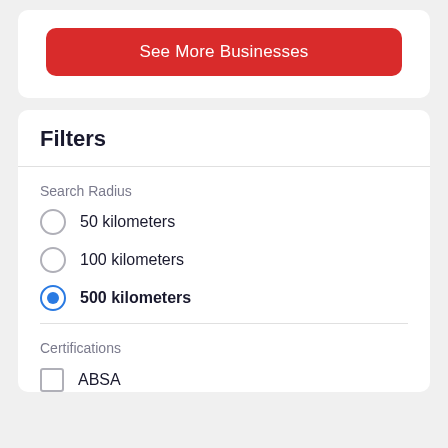[Figure (screenshot): Red button labeled 'See More Businesses']
Filters
Search Radius
50 kilometers
100 kilometers
500 kilometers (selected)
Certifications
ABSA